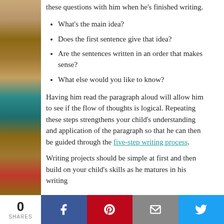these questions with him when he's finished writing.
What's the main idea?
Does the first sentence give that idea?
Are the sentences written in an order that makes sense?
What else would you like to know?
Having him read the paragraph aloud will allow him to see if the flow of thoughts is logical. Repeating these steps strengthens your child's understanding and application of the paragraph so that he can then be guided through the five-step writing process.
Writing projects should be simple at first and then build on your child's skills as he matures in his writing
0 SHARES | Facebook | Pinterest | Email | Twitter